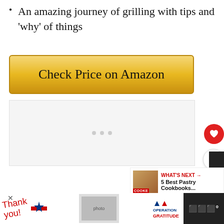An amazing journey of grilling with tips and 'why' of things
[Figure (other): Check Price on Amazon button with gold gradient background]
[Figure (other): Advertisement placeholder area with three dots]
[Figure (other): Heart/save button (red circle), share button (white circle), WHAT'S NEXT panel showing 5 Best Pastry Cookbooks...]
[Figure (other): Footer advertisement bar: Thank You military Operation Gratitude ad banner with close button, and site logo]